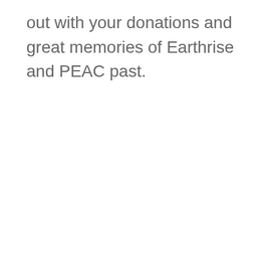out with your donations and great memories of Earthrise and PEAC past.